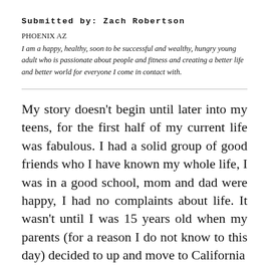Submitted by: Zach Robertson
PHOENIX AZ
I am a happy, healthy, soon to be successful and wealthy, hungry young adult who is passionate about people and fitness and creating a better life and better world for everyone I come in contact with.
My story doesn't begin until later into my teens, for the first half of my current life was fabulous. I had a solid group of good friends who I have known my whole life, I was in a good school, mom and dad were happy, I had no complaints about life. It wasn't until I was 15 years old when my parents (for a reason I do not know to this day) decided to up and move to California